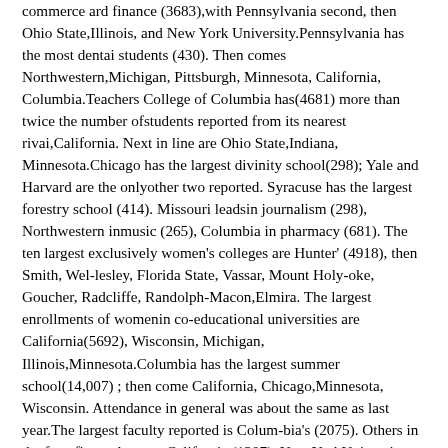commerce ard finance (3683),with Pennsylvania second, then Ohio State,Illinois, and New York University.Pennsylvania has the most dentai students (430). Then comes Northwestern,Michigan, Pittsburgh, Minnesota, California, Columbia.Teachers College of Columbia has(4681) more than twice the number ofstudents reported from its nearest rivai,California. Next in line are Ohio State,Indiana, Minnesota.Chicago has the largest divinity school(298); Yale and Harvard are the onlyother two reported. Syracuse has the largest forestry school (414). Missouri leadsin journalism (298), Northwestern inmusic (265), Columbia in pharmacy (681). The ten largest exclusively women's colleges are Hunter' (4918), then Smith, Wel-lesley, Florida State, Vassar, Mount Holy-oke, Goucher, Radcliffe, Randolph-Macon,Elmira. The largest enrollments of womenin co-educational universities are California(5692), Wisconsin, Michigan, Illinois,Minnesota.Columbia has the largest summer school(14,007) ; then come California, Chicago,Minnesota, Wisconsin. Attendance in general was about the same as last year.The largest faculty reported is Colum-bia's (2075). Others in the four-figureclass are California (1387), New YorkUniversity (1383), Pennsylvania (1362),Harvard (1244), Illinois (n35). Thesmallest faculty listed is Westminster(Mo.) which has 17 members.Arranging the registrations by states,New York is far in the lead, with 66,203.Massachusetts is second (34*859) , thenOhio (32,429), Pennsylvania (28,476),Illinois (27,841), California (27,425),Minnesota, Indiana, Iowa, Michigan, and Missouri.